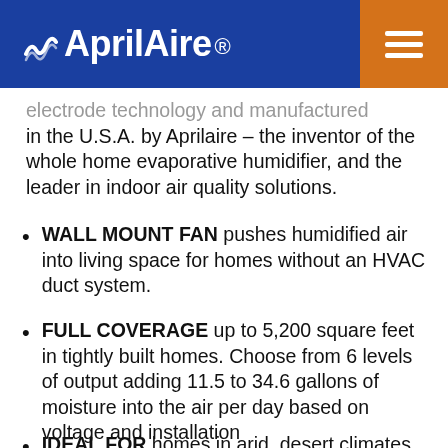AprilAire
electrode technology and manufactured in the U.S.A. by Aprilaire – the inventor of the whole home evaporative humidifier, and the leader in indoor air quality solutions.
WALL MOUNT FAN pushes humidified air into living space for homes without an HVAC duct system.
FULL COVERAGE up to 5,200 square feet in tightly built homes. Choose from 6 levels of output adding 11.5 to 34.6 gallons of moisture into the air per day based on voltage and installation
IDEAL FOR homes in arid, desert climates